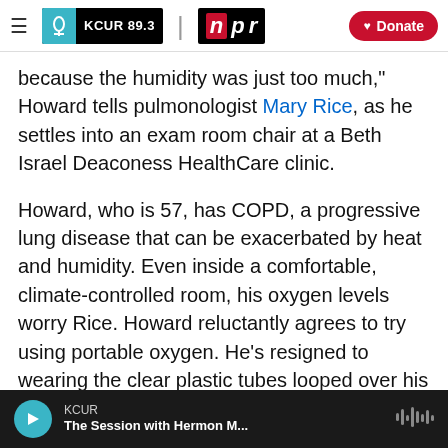KCUR 89.3 | npr | Donate
because the humidity was just too much," Howard tells pulmonologist Mary Rice, as he settles into an exam room chair at a Beth Israel Deaconess HealthCare clinic.
Howard, who is 57, has COPD, a progressive lung disease that can be exacerbated by heat and humidity. Even inside a comfortable, climate-controlled room, his oxygen levels worry Rice. Howard reluctantly agrees to try using portable oxygen. He's resigned to wearing the clear plastic tubes looped over his ears and inserted in his nostrils. He assures Rice he has an air conditioner
KCUR | The Session with Hermon M...